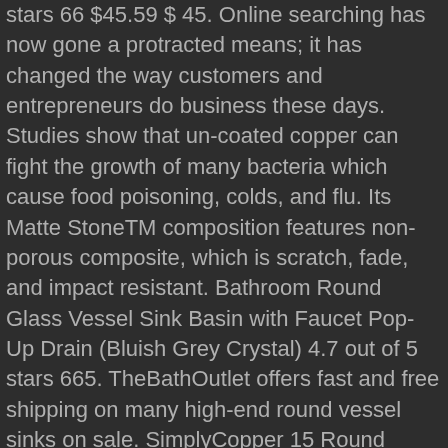stars 66 $45.59 $ 45. Online searching has now gone a protracted means; it has changed the way customers and entrepreneurs do business these days. Studies show that un-coated copper can fight the growth of many bacteria which cause food poisoning, colds, and flu. Its Matte StoneTM composition features non-porous composite, which is scratch, fade, and impact resistant. Bathroom Round Glass Vessel Sink Basin with Faucet Pop-Up Drain (Bluish Grey Crystal) 4.7 out of 5 stars 665. TheBathOutlet offers fast and free shipping on many high-end round vessel sinks on sale. SimplyCopper 15 Round Copper Bucket Sink Design, created of 18-gauge copper which is hand-hammered to provide a Rustic, Old-World Look. Glass Round Vessel Bathroom Sink with Overflow If you want to buy Glass Round Vessel Bathroom Sink with Overflow Ok you want deals and save. $89. A welcoming addition to any bathroom or powder room, Constructed of durable and stain-resistant vitreous china, this round sink features sleek, refined sides and its rounded appearance provides it with a modern and fresh look. 19" Round white porcelain vessel sink for single-hole